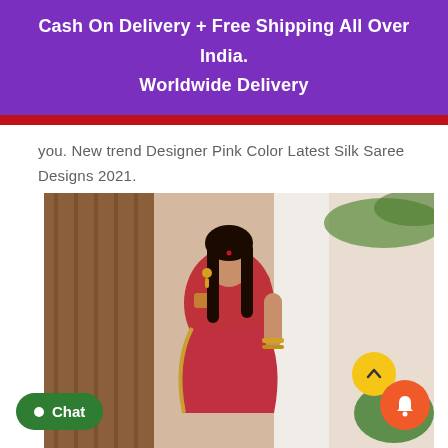Cash On Delivery + Free Shipping All Over India. Worldwide Delivery
you. New trend Designer Pink Color Latest Silk Saree Designs 2021.
[Figure (photo): Woman wearing a red/pink silk saree with gold embroidery, standing in front of a wooden wall and white pillar with palm trees in background.]